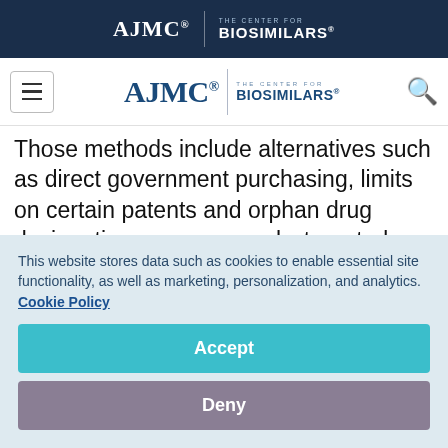AJMC | THE CENTER FOR BIOSIMILARS
[Figure (logo): AJMC The Center for Biosimilars navigation logo with menu and search icons]
Those methods include alternatives such as direct government purchasing, limits on certain patents and orphan drug designations, or conversely, targeted incentives for certain conditions. Other methods look to stimulate generic competition,
This website stores data such as cookies to enable essential site functionality, as well as marketing, personalization, and analytics. Cookie Policy
Accept
Deny